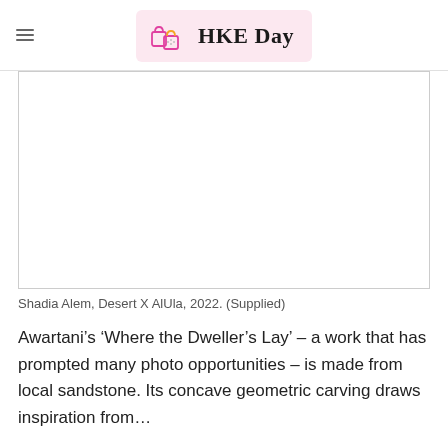HKE Day
[Figure (photo): A large white/blank rectangular image area representing an artwork photo placeholder]
Shadia Alem, Desert X AlUla, 2022. (Supplied)
Awartani’s ‘Where the Dweller’s Lay’ – a work that has prompted many photo opportunities – is made from local sandstone. Its concave geometric carving draws inspiration from…